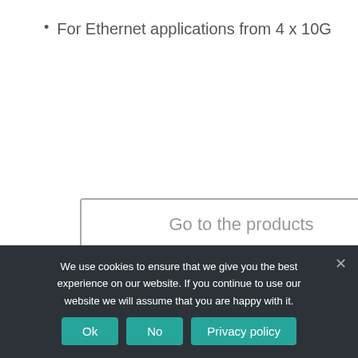For Ethernet applications from 4 x 10G
Go to the products
[Figure (photo): Close-up photo of network cables including a blue fiber/ethernet cable and dark cables with connectors on a dark background]
We use cookies to ensure that we give you the best experience on our website. If you continue to use our website we will assume that you are happy with it.